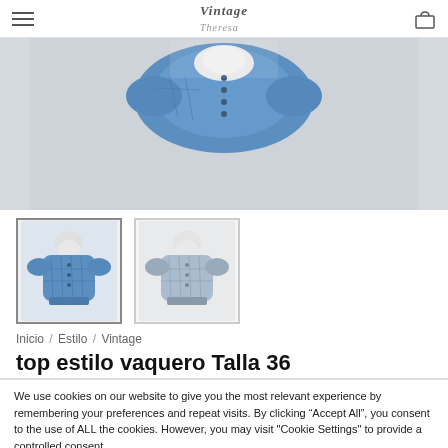Vintage Theresa [navigation header with hamburger menu and cart icon]
[Figure (photo): Main product image showing a blue denim corset-style top on a mannequin, cropped view showing upper body. Background is light gray.]
[Figure (photo): Thumbnail 1: Blue denim corset-style top on mannequin, front view, active/selected state with border.]
[Figure (photo): Thumbnail 2: Light blue/gray version of the same corset-style top on mannequin, front view.]
Inicio / Estilo / Vintage
top estilo vaquero Talla 36
We use cookies on our website to give you the most relevant experience by remembering your preferences and repeat visits. By clicking "Accept All", you consent to the use of ALL the cookies. However, you may visit "Cookie Settings" to provide a controlled consent.
Cookie Settings | Accept All